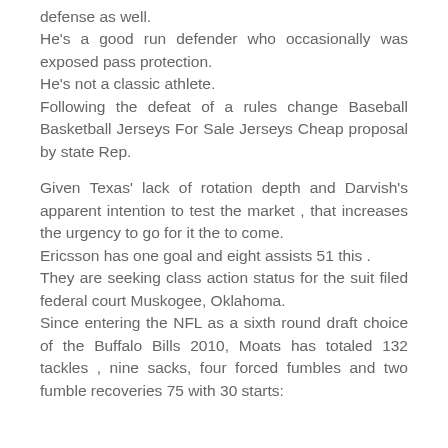defense as well.
He's a good run defender who occasionally was exposed pass protection.
He's not a classic athlete.
Following the defeat of a rules change Baseball Basketball Jerseys For Sale Jerseys Cheap proposal by state Rep.
Given Texas' lack of rotation depth and Darvish's apparent intention to test the market , that increases the urgency to go for it the to come.
Ericsson has one goal and eight assists 51 this .
They are seeking class action status for the suit filed federal court Muskogee, Oklahoma.
Since entering the NFL as a sixth round draft choice of the Buffalo Bills 2010, Moats has totaled 132 tackles , nine sacks, four forced fumbles and two fumble recoveries 75 with 30 starts: